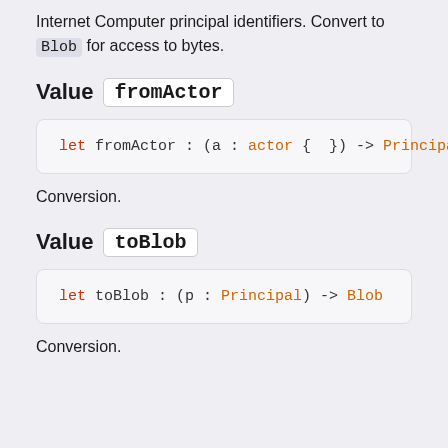Internet Computer principal identifiers. Convert to Blob for access to bytes.
Value fromActor
Conversion.
Value toBlob
Conversion.